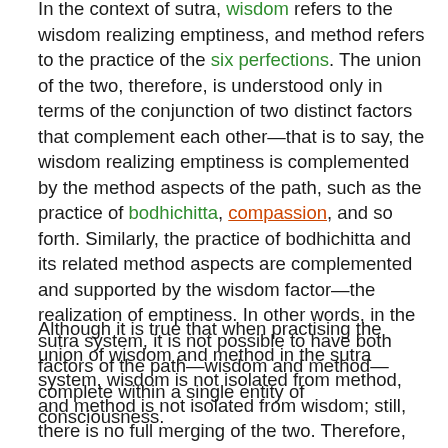In the context of sutra, wisdom refers to the wisdom realizing emptiness, and method refers to the practice of the six perfections. The union of the two, therefore, is understood only in terms of the conjunction of two distinct factors that complement each other—that is to say, the wisdom realizing emptiness is complemented by the method aspects of the path, such as the practice of bodhichitta, compassion, and so forth. Similarly, the practice of bodhichitta and its related method aspects are complemented and supported by the wisdom factor—the realization of emptiness. In other words, in the sutra system, it is not possible to have both factors of the path—wisdom and method—complete within a single entity of consciousness.
Although it is true that when practising the union of wisdom and method in the sutra system, wisdom is not isolated from method, and method is not isolated from wisdom; still, there is no full merging of the two. Therefore, sutra practice cannot serve as the ultimate cause, or path, of attaining the resultant state of buddhahood in which wisdom and method are complete within a single entity of consciousness.